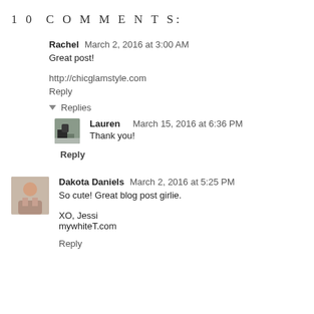10 COMMENTS:
Rachel  March 2, 2016 at 3:00 AM
Great post!
http://chicglamstyle.com
Reply
▾ Replies
Lauren  March 15, 2016 at 6:36 PM
Thank you!
Reply
Dakota Daniels  March 2, 2016 at 5:25 PM
So cute! Great blog post girlie.
XO, Jessi
mywhiteT.com
Reply